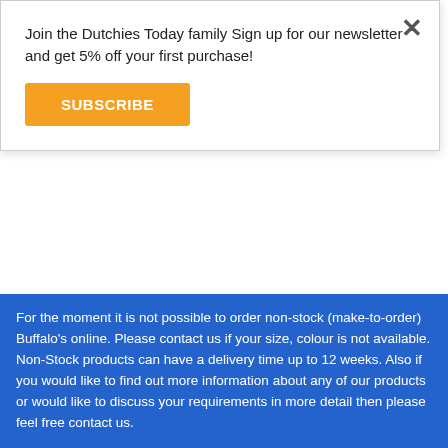Join the Dutchies Today family Sign up for our newsletter and get 5% off your first purchase!
SUBSCRIBE
a vast UK textile heritage. The only effort Buffalo sometimes has to ask customers to maintain this precious value is to have some patience when a product is not in stock. The production team consists of skilled and motivated seamstresses, but capacity is limited and may result in a delivery time for out-of-stock or tailor-to-order products of approximately four weeks. But then again...what is 4 weeks if it brings you a great comfy garment that may well last you over a decade?
27 products
For the moment it is not possible to order non-stock (make-to-order) Buffalo's online. Please contact us if your size, colour is not available. Non-Stock products can have a delivery time up to 12 weeks. Also if you would like to find out more information about any of our products or would like to discuss your requirements in more detail then please feel free contact us.